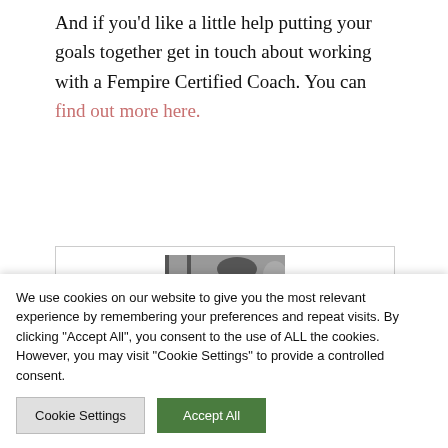And if you'd like a little help putting your goals together get in touch about working with a Fempire Certified Coach. You can find out more here.
[Figure (photo): Black and white photograph of a person (partially visible), cropped at top of a card/box element]
We use cookies on our website to give you the most relevant experience by remembering your preferences and repeat visits. By clicking "Accept All", you consent to the use of ALL the cookies. However, you may visit "Cookie Settings" to provide a controlled consent.